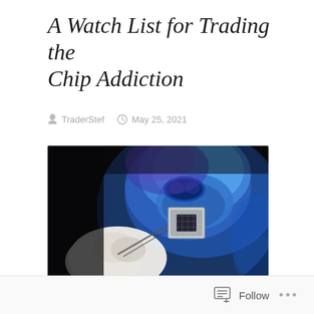A Watch List for Trading the Chip Addiction
TraderStef   May 25, 2021
[Figure (photo): A person in blue protective cleanroom gear (mask, hood, goggles) holding a semiconductor chip with tweezers against a dark background.]
Follow ...